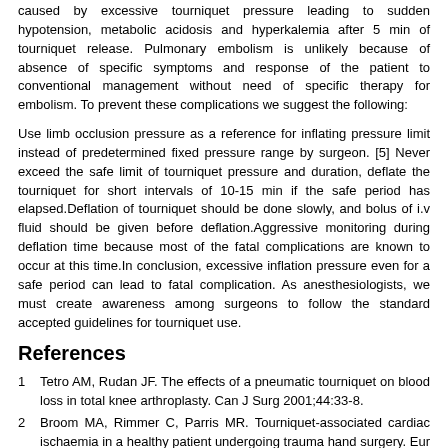caused by excessive tourniquet pressure leading to sudden hypotension, metabolic acidosis and hyperkalemia after 5 min of tourniquet release. Pulmonary embolism is unlikely because of absence of specific symptoms and response of the patient to conventional management without need of specific therapy for embolism. To prevent these complications we suggest the following:
Use limb occlusion pressure as a reference for inflating pressure limit instead of predetermined fixed pressure range by surgeon. [5] Never exceed the safe limit of tourniquet pressure and duration, deflate the tourniquet for short intervals of 10-15 min if the safe period has elapsed.Deflation of tourniquet should be done slowly, and bolus of i.v fluid should be given before deflation.Aggressive monitoring during deflation time because most of the fatal complications are known to occur at this time.In conclusion, excessive inflation pressure even for a safe period can lead to fatal complication. As anesthesiologists, we must create awareness among surgeons to follow the standard accepted guidelines for tourniquet use.
References
1  Tetro AM, Rudan JF. The effects of a pneumatic tourniquet on blood loss in total knee arthroplasty. Can J Surg 2001;44:33-8.
2  Broom MA, Rimmer C, Parris MR. Tourniquet-associated cardiac ischaemia in a healthy patient undergoing trauma hand surgery. Eur J Anaesthesiol 2007;24:729-30.
3  Murphy CG, Winter DC, Bouchier-Hayes DJ. Tourniquet injuries: Pathogenesis and modalities for attenuation. Acta Orthop Belg 2005;71:635-45.